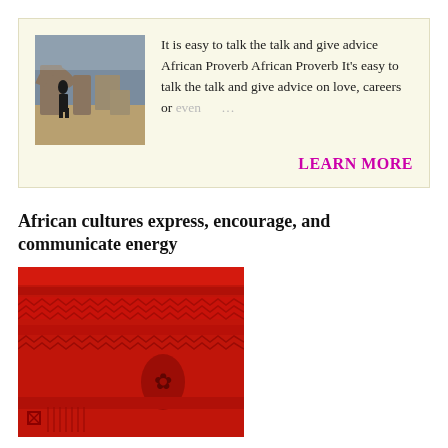[Figure (photo): Photo of a person walking through a stone arch or ruins, outdoor scene]
It is easy to talk the talk and give advice African Proverb African Proverb It's easy to talk the talk and give advice on love, careers or even ...
LEARN MORE
African cultures express, encourage, and communicate energy
[Figure (photo): Close-up photo of red African textile fabric with geometric patterns and symbols]